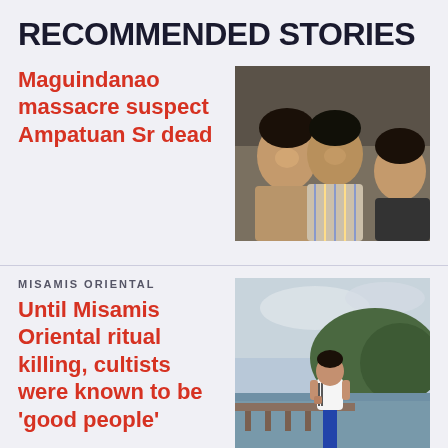RECOMMENDED STORIES
Maguindanao massacre suspect Ampatuan Sr dead
[Figure (photo): Photo of three Filipino individuals – a woman on the left, an older man in the center wearing a striped shirt, and a woman on the right with head down]
MISAMIS ORIENTAL
Until Misamis Oriental ritual killing, cultists were known to be 'good people'
[Figure (photo): Photo of a young man in a white Adidas t-shirt and blue pants standing by a waterfront with hills in the background]